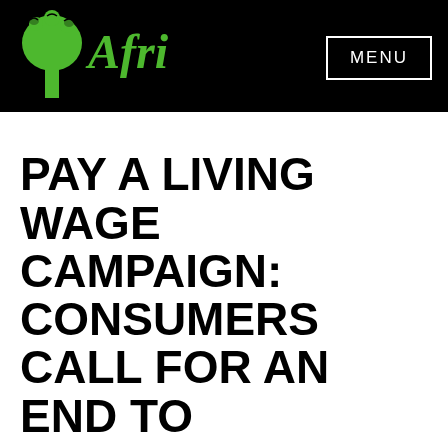Afri — MENU
[Figure (logo): Afri logo with green tree icon and green italic text 'Afri' on black background, with a MENU button on the right]
PAY A LIVING WAGE CAMPAIGN: CONSUMERS CALL FOR AN END TO